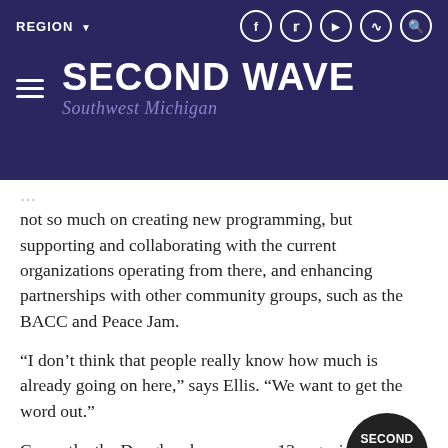SECOND WAVE Southwest Michigan
not so much on creating new programming, but supporting and collaborating with the current organizations operating from there, and enhancing partnerships with other community groups, such as the BACC and Peace Jam.
“I don’t think that people really know how much is already going on here,” says Ellis. “We want to get the word out.”
Currently, the Douglass houses over 12 organizations, including the Boys and Girls Club,